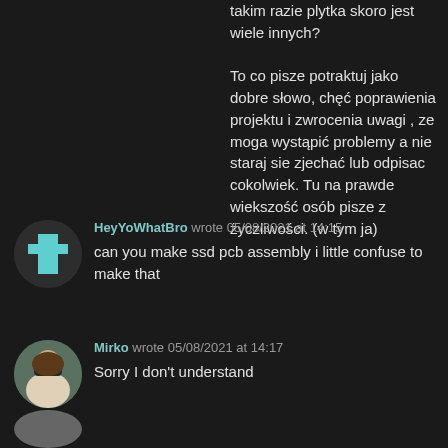takim razie plytka skoro jest wiele innych?

To co pisze potraktuj jako dobre słowo, chęć poprawienia projektu i zwrocenia uwagi , ze moga wystąpić problemy a nie staraj sie zjechać lub odpisac cokolwiek. Tu na prawde wiekszość osób pisze z życzliwości. (w tym ja)
HeyYoWhatBro wrote 05/08/2021 at 14:15

can you make ssd pcb assembly i little confuse to make that
Mirko wrote 05/08/2021 at 14:17

Sorry I don't understand